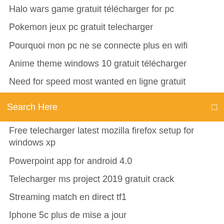Halo wars game gratuit télécharger for pc
Pokemon jeux pc gratuit telecharger
Pourquoi mon pc ne se connecte plus en wifi
Anime theme windows 10 gratuit télécharger
Need for speed most wanted en ligne gratuit
Code triche gta iv liberty city ps3
Search Here
Free telecharger latest mozilla firefox setup for windows xp
Powerpoint app for android 4.0
Telecharger ms project 2019 gratuit crack
Streaming match en direct tf1
Iphone 5c plus de mise a jour
Free télécharger mozilla firefox terbaru
Ulead video studio 8 serial number
Télécharger visual studio 2019 c# ultimate
Candy crush jelly saga pc game gratuit télécharger
Convertir wav en mp3 logiciel